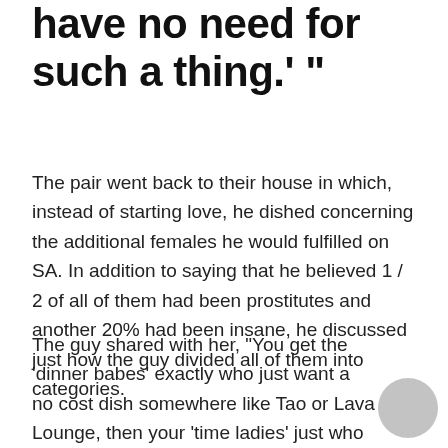have no need for such a thing.' ”
The pair went back to their house in which, instead of starting love, he dished concerning the additional females he would fulfilled on SA. In addition to saying that he believed 1 / 2 of all of them had been prostitutes and another 20% had been insane, he discussed just how the guy divided all of them into categories.
The guy shared with her, “You get the ‘dinner babes’ exactly who just want a no cost dish somewhere like Tao or Lava Lounge, then your ‘time ladies’ just who charge between $300 and $1,000 for their organization alone.”